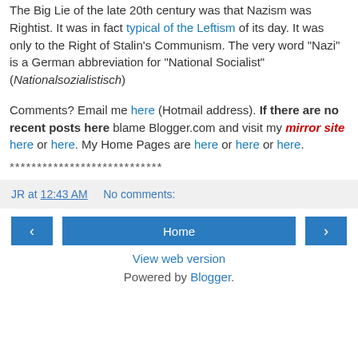The Big Lie of the late 20th century was that Nazism was Rightist. It was in fact typical of the Leftism of its day. It was only to the Right of Stalin's Communism. The very word "Nazi" is a German abbreviation for "National Socialist" (Nationalsozialistisch)
Comments? Email me here (Hotmail address). If there are no recent posts here blame Blogger.com and visit my mirror site here or here. My Home Pages are here or here or here.
****************************
JR at 12:43 AM   No comments:
‹  Home  ›
View web version
Powered by Blogger.